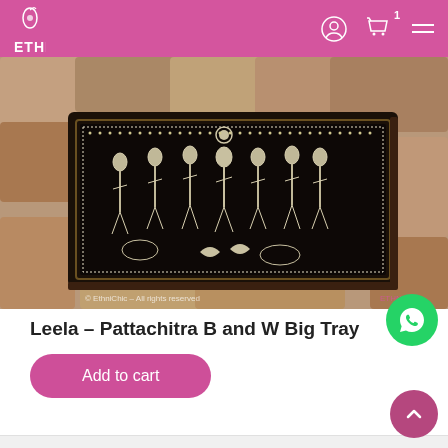EthniChic — navigation header with logo, user icon, cart (1), and hamburger menu
[Figure (photo): Photograph of a Pattachitra black and white decorative tray featuring traditional Indian art with figures of gods and mythological characters, placed on a stone surface. Copyright watermark: © EthniChic – All rights reserved]
Leela – Pattachitra B and W Big Tray
Add to cart